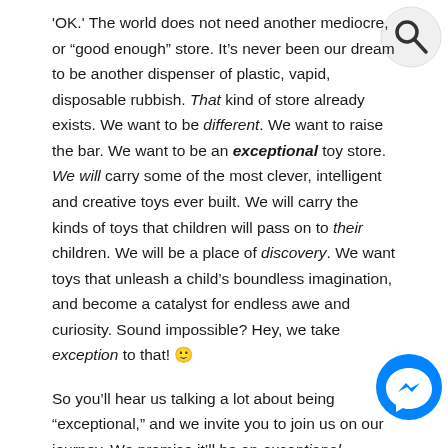'OK.' The world does not need another mediocre, or “good enough” store. It’s never been our dream to be another dispenser of plastic, vapid, disposable rubbish. That kind of store already exists. We want to be different. We want to raise the bar. We want to be an exceptional toy store. We will carry some of the most clever, intelligent and creative toys ever built. We will carry the kinds of toys that children will pass on to their children. We will be a place of discovery. We want toys that unleash a child’s boundless imagination, and become a catalyst for endless awe and curiosity. Sound impossible? Hey, we take exception to that! 😊
So you’ll hear us talking a lot about being “exceptional,” and we invite you to join us on our journey. We promise it’ll be an exceptional experience!
want to tell their friends about you and come back for more. Free shipping? Do you support a charity? Let them know here!
[Figure (other): Search icon: white circle with magnifying glass symbol on top-right of page]
[Figure (other): Facebook Messenger icon: blue circle with white lightning bolt/chat symbol on bottom-right of page]